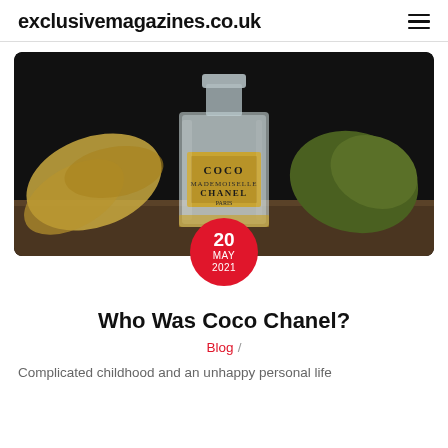exclusivemagazines.co.uk
[Figure (photo): A Coco Chanel perfume bottle surrounded by dried autumn leaves on a wooden surface, dark background. A red circular date badge overlays the bottom center reading '20 MAY 2021'.]
Who Was Coco Chanel?
Blog /
Complicated childhood and an unhappy personal life